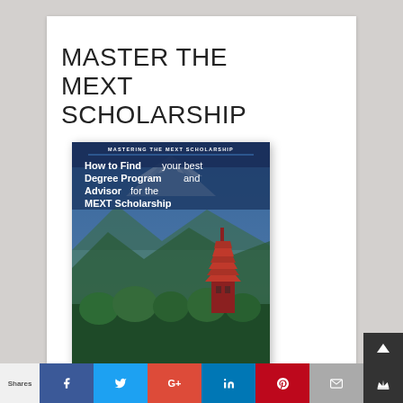MASTER THE MEXT SCHOLARSHIP
[Figure (illustration): Book cover: 'Mastering the MEXT Scholarship – How to Find your best Degree Program and Advisor for the MEXT Scholarship' by Travis Senzaki. Features Mount Fuji and a Japanese pagoda in the background.]
Shares | Facebook | Twitter | Google+ | LinkedIn | Pinterest | Email | Crown